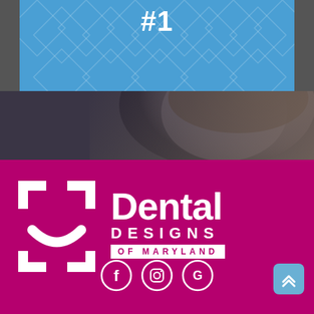[Figure (photo): Blue banner with diamond/rhombus geometric pattern overlay and #1 text in white at top, above a dark photo of a woman looking upward]
#1
[Figure (logo): Dental Designs of Maryland logo — white bracket/smile icon on magenta background with text 'Dental DESIGNS OF MARYLAND']
[Figure (infographic): Social media icons: Facebook, Instagram, Google in white circles, plus a teal scroll-up button]